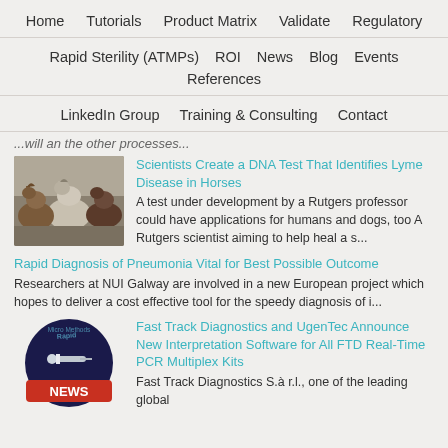Home   Tutorials   Product Matrix   Validate   Regulatory
Rapid Sterility (ATMPs)   ROI   News   Blog   Events   References
LinkedIn Group   Training & Consulting   Contact
...will an the other processes...
[Figure (photo): A group of horses]
Scientists Create a DNA Test That Identifies Lyme Disease in Horses
A test under development by a Rutgers professor could have applications for humans and dogs, too A Rutgers scientist aiming to help heal a s...
Rapid Diagnosis of Pneumonia Vital for Best Possible Outcome
Researchers at NUI Galway are involved in a new European project which hopes to deliver a cost effective tool for the speedy diagnosis of i...
[Figure (logo): Rapid Micro Methods NEWS circular logo]
Fast Track Diagnostics and UgenTec Announce New Interpretation Software for All FTD Real-Time PCR Multiplex Kits
Fast Track Diagnostics S.à r.l., one of the leading global